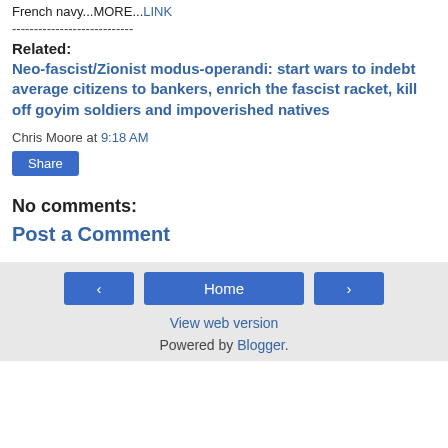French navy...MORE...LINK
----------------------------
Related:
Neo-fascist/Zionist modus-operandi: start wars to indebt average citizens to bankers, enrich the fascist racket, kill off goyim soldiers and impoverished natives
Chris Moore at 9:18 AM
Share
No comments:
Post a Comment
Home | View web version | Powered by Blogger.